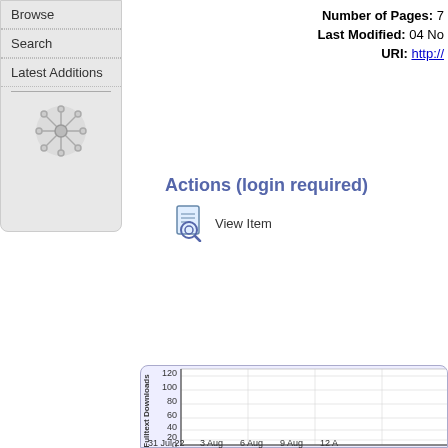Browse
Search
Latest Additions
Number of Pages: 7
Last Modified: 04 No...
URI: http://...
Actions (login required)
View Item
[Figure (line-chart): Line chart showing Fulltext Downloads over time from 31 Jul 22 to 12 Aug, y-axis 0-120, appears empty or near zero]